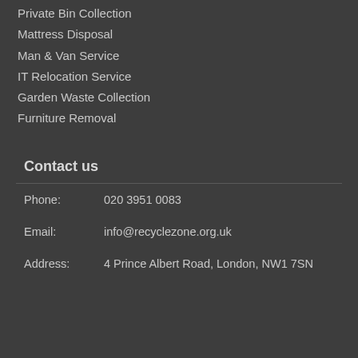Private Bin Collection
Mattress Disposal
Man & Van Service
IT Relocation Service
Garden Waste Collection
Furniture Removal
Contact us
Phone: 020 3951 0083
Email: info@recyclezone.org.uk
Address: 4 Prince Albert Road, London, NW1 7SN